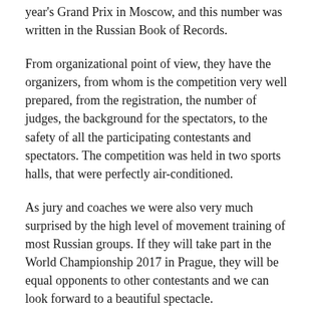year's Grand Prix in Moscow, and this number was written in the Russian Book of Records.
From organizational point of view, they have the organizers, from whom is the competition very well prepared, from the registration, the number of judges, the background for the spectators, to the safety of all the participating contestants and spectators. The competition was held in two sports halls, that were perfectly air-conditioned.
As jury and coaches we were also very much surprised by the high level of movement training of most Russian groups. If they will take part in the World Championship 2017 in Prague, they will be equal opponents to other contestants and we can look forward to a beautiful spectacle.
We really enjoyed the discipline with drums. With this discipline, we had to manage as jury. It was scored the